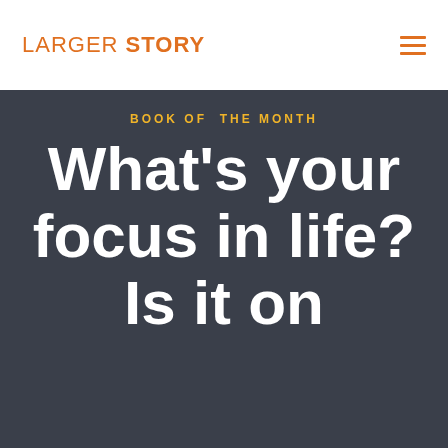LARGER STORY
BOOK OF THE MONTH
What's your focus in life? Is it on